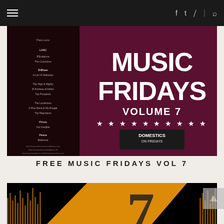Navigation bar with hamburger menu and social icons (Facebook, Twitter, RSS, Search)
[Figure (photo): Album cover for Free Music Fridays Volume 7 by Domestics on Fridays. Dark maroon/purple background with text MUSIC FRIDAYS VOLUME 7, stars, and a logo. Left side shows track listing in small white text.]
FREE MUSIC FRIDAYS VOL 7
[Figure (photo): Partial album cover image with black background and orange/yellow graphic design element visible at bottom.]